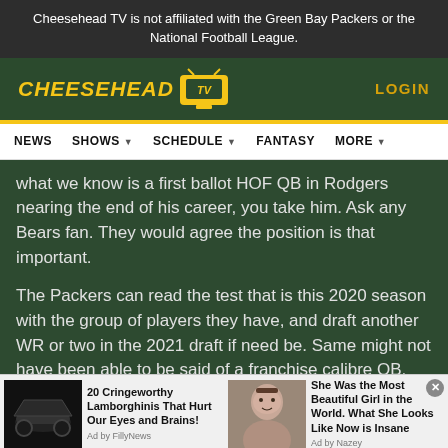Cheesehead TV is not affiliated with the Green Bay Packers or the National Football League.
[Figure (logo): Cheesehead TV logo with yellow text and TV icon on dark green background, with LOGIN link]
[Figure (screenshot): Navigation bar with NEWS, SHOWS, SCHEDULE, FANTASY, MORE menu items]
What we know is a first ballot HOF QB in Rodgers nearing the end of his career, you take him. Ask any Bears fan. They would agree the position is that important.
The Packers can read the test that is this 2020 season with the group of players they have, and draft another WR or two in the 2021 draft if need be. Same might not have been able to be said of a franchise calibre QB. Chances of
[Figure (infographic): Advertisement strip at bottom showing two ads: '20 Cringeworthy Lamborghinis That Hurt Our Eyes and Brains!' by FillyNews, and 'She Was the Most Beautiful Girl in the World. What She Looks Like Now is Insane' by Ad by Nazey]